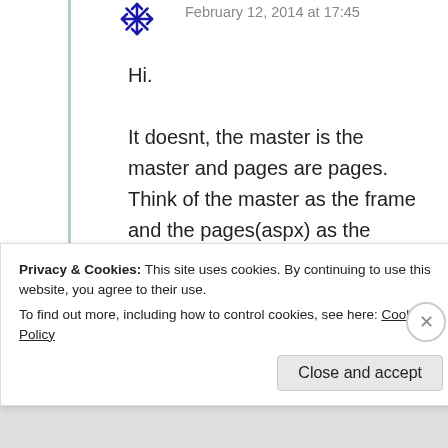February 12, 2014 at 17:45
Hi.

It doesnt, the master is the master and pages are pages.

Think of the master as the frame and the pages(aspx) as the paintings...

Regards

// Thomas
Privacy & Cookies: This site uses cookies. By continuing to use this website, you agree to their use.
To find out more, including how to control cookies, see here: Cookie Policy
Close and accept